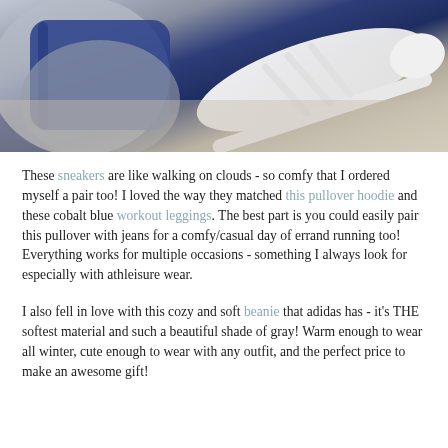[Figure (photo): Flat lay photo of blue workout leggings, a gray pullover hoodie, and white Adidas sneakers on a textured background]
These sneakers are like walking on clouds - so comfy that I ordered myself a pair too! I loved the way they matched this pullover hoodie and these cobalt blue workout leggings. The best part is you could easily pair this pullover with jeans for a comfy/casual day of errand running too! Everything works for multiple occasions - something I always look for especially with athleisure wear.
I also fell in love with this cozy and soft beanie that adidas has - it's THE softest material and such a beautiful shade of gray! Warm enough to wear all winter, cute enough to wear with any outfit, and the perfect price to make an awesome gift!